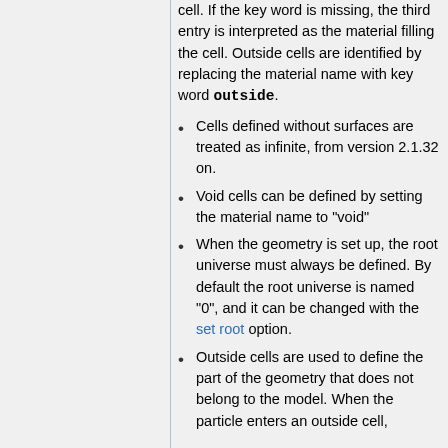cell. If the key word is missing, the third entry is interpreted as the material filling the cell. Outside cells are identified by replacing the material name with key word outside.
Cells defined without surfaces are treated as infinite, from version 2.1.32 on.
Void cells can be defined by setting the material name to "void"
When the geometry is set up, the root universe must always be defined. By default the root universe is named "0", and it can be changed with the set root option.
Outside cells are used to define the part of the geometry that does not belong to the model. When the particle enters an outside cell,